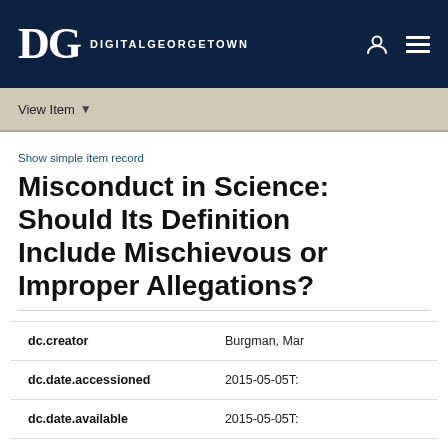DG DigitalGeorgetown
View Item
Show simple item record
Misconduct in Science: Should Its Definition Include Mischievous or Improper Allegations?
| Field | Value |
| --- | --- |
| dc.creator | Burgman, Mar |
| dc.date.accessioned | 2015-05-05T: |
| dc.date.available | 2015-05-05T: |
| dc.date.created | 1994-06- |